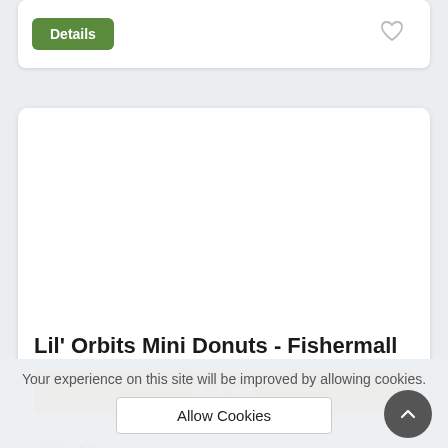[Figure (screenshot): Top card partially visible with a green 'Details' button and a heart/bookmark icon on the right]
[Figure (screenshot): Main restaurant card for Lil' Orbits Mini Donuts - Fishermall showing a white image placeholder area, restaurant name, rating bar 4.3 with star, Menu icon row, and location info row]
Lil' Orbits Mini Donuts - Fishermall
4.3 ☆
Menu
City: Pulong Santa Cruz, 3/F Fisher Mall, Qu...
Your experience on this site will be improved by allowing cookies.
Allow Cookies